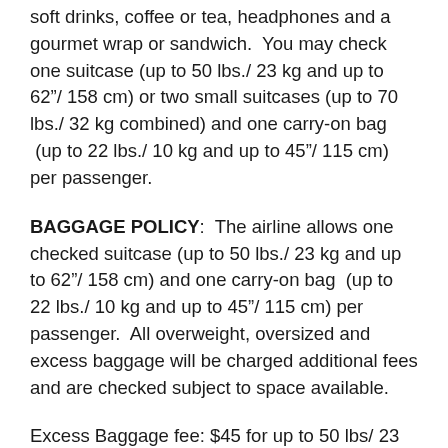soft drinks, coffee or tea, headphones and a gourmet wrap or sandwich.  You may check one suitcase (up to 50 lbs./ 23 kg and up to 62″/ 158 cm) or two small suitcases (up to 70 lbs./ 32 kg combined) and one carry-on bag  (up to 22 lbs./ 10 kg and up to 45″/ 115 cm) per passenger.
BAGGAGE POLICY:  The airline allows one checked suitcase (up to 50 lbs./ 23 kg and up to 62″/ 158 cm) and one carry-on bag  (up to 22 lbs./ 10 kg and up to 45″/ 115 cm) per passenger.  All overweight, oversized and excess baggage will be charged additional fees and are checked subject to space available.
Excess Baggage fee: $45 for up to 50 lbs/ 23